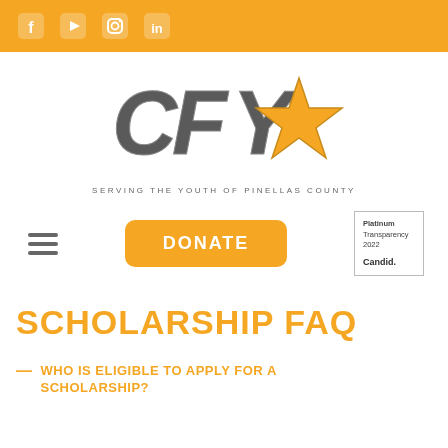Social media icons: Facebook, YouTube, Instagram, LinkedIn
[Figure (logo): CFY logo with star — Serving the Youth of Pinellas County]
[Figure (other): Hamburger menu icon, Donate button, Candid Platinum Transparency 2022 badge]
SCHOLARSHIP FAQ
— WHO IS ELIGIBLE TO APPLY FOR A SCHOLARSHIP?